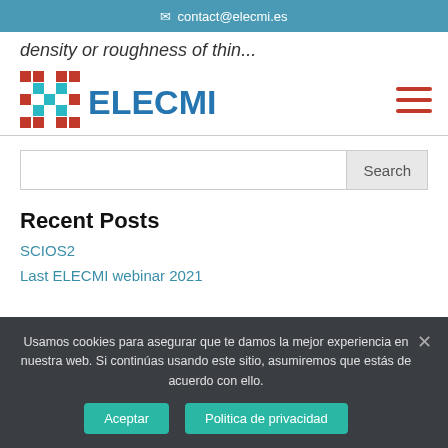contact@elecmi.es
density or roughness of thin...
[Figure (logo): ELECMI logo with red and teal geometric icon and blue ELECMI text]
Search
Recent Posts
SCIOS2
Last ELECMI webinar 2021
Usamos cookies para asegurar que te damos la mejor experiencia en nuestra web. Si continúas usando este sitio, asumiremos que estás de acuerdo con ello.
Aceptar
Politica de privacidad